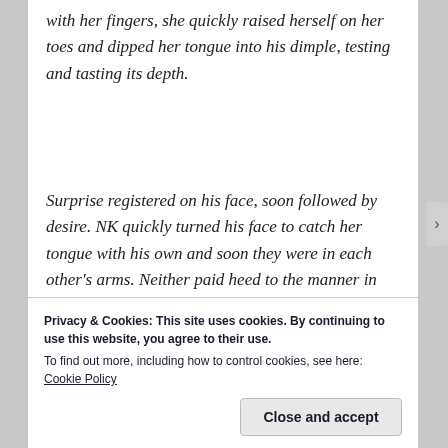with her fingers, she quickly raised herself on her toes and dipped her tongue into his dimple, testing and tasting its depth.
Surprise registered on his face, soon followed by desire. NK quickly turned his face to catch her tongue with his own and soon they were in each other's arms. Neither paid heed to the manner in which they divested each other's clothes. Neither knew how they
Privacy & Cookies: This site uses cookies. By continuing to use this website, you agree to their use.
To find out more, including how to control cookies, see here: Cookie Policy
Close and accept